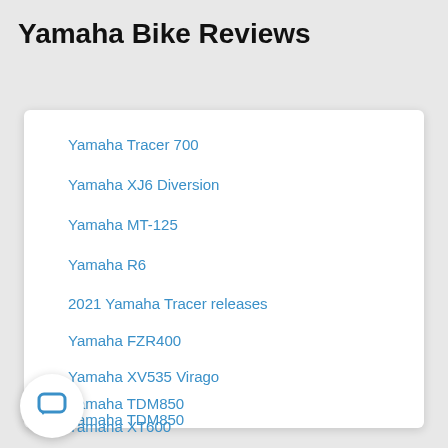Yamaha Bike Reviews
Yamaha Tracer 700
Yamaha XJ6 Diversion
Yamaha MT-125
Yamaha R6
2021 Yamaha Tracer releases
Yamaha FZR400
Yamaha XV535 Virago
Yamaha TDM850
Yamaha XT600
21 Yamaha MT-09 revealed